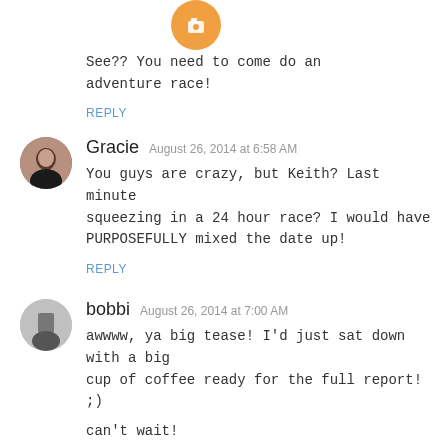[Figure (illustration): Orange circular Blogger avatar icon at top center]
See?? You need to come do an adventure race!
REPLY
[Figure (photo): Profile photo of Gracie - woman in dark clothing]
Gracie   August 26, 2014 at 6:58 AM
You guys are crazy, but Keith? Last minute squeezing in a 24 hour race? I would have PURPOSEFULLY mixed the date up!
REPLY
[Figure (photo): Profile photo of bobbi - person in athletic gear]
bobbi   August 26, 2014 at 7:00 AM
awwww, ya big tease! I'd just sat down with a big cup of coffee ready for the full report! ;)
can't wait!
REPLY
[Figure (illustration): Orange circular Blogger avatar icon for KovasP]
KovasP   August 26, 2014 at 8:33 AM